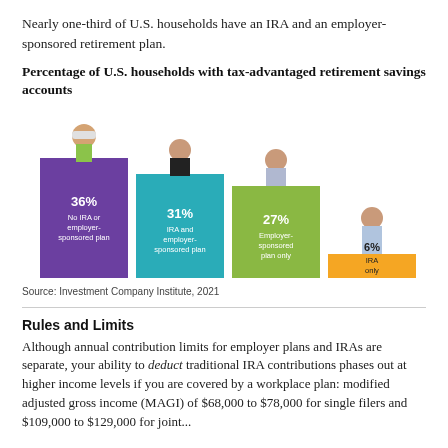Nearly one-third of U.S. households have an IRA and an employer-sponsored retirement plan.
Percentage of U.S. households with tax-advantaged retirement savings accounts
[Figure (bar-chart): Percentage of U.S. households with tax-advantaged retirement savings accounts]
Source: Investment Company Institute, 2021
Rules and Limits
Although annual contribution limits for employer plans and IRAs are separate, your ability to deduct traditional IRA contributions phases out at higher income levels if you are covered by a workplace plan: modified adjusted gross income (MAGI) of $68,000 to $78,000 for single filers and $109,000 to $129,000 for joint...